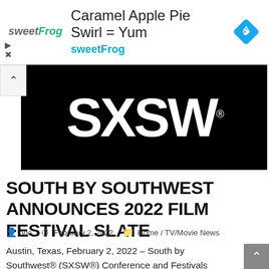[Figure (screenshot): sweetFrog advertisement banner with logo, headline 'Caramel Apple Pie Swirl = Yum', subtext 'sweetFrog', and a blue diamond navigation icon on the right.]
[Figure (logo): SXSW logo in large white bold letters on a black background, with a registered trademark symbol.]
SOUTH BY SOUTHWEST ANNOUNCES 2022 FILM FESTIVAL SLATE
Vic · February 2, 2022 · Home / TV/Movie News
Austin, Texas, February 2, 2022 – South by Southwest® (SXSW®) Conference and Festivals (March 11-20, 2022) announced the full program for the 29th edition of the